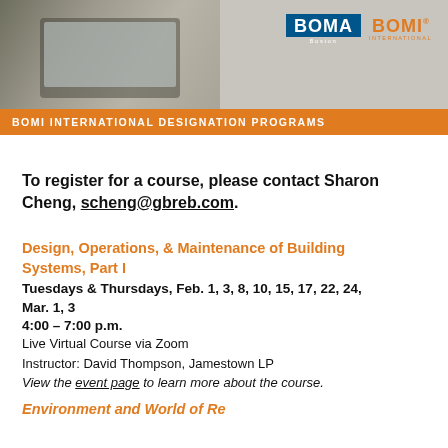[Figure (photo): Header image with a photo of person working on laptop on left, BOMA Boston logo and BOMI International logo on right, over grey background]
BOMI INTERNATIONAL DESIGNATION PROGRAMS
To register for a course, please contact Sharon Cheng, scheng@gbreb.com.
Design, Operations, & Maintenance of Building Systems, Part I
Tuesdays & Thursdays, Feb. 1, 3, 8, 10, 15, 17, 22, 24, Mar. 1, 3
4:00 – 7:00 p.m.
Live Virtual Course via Zoom
Instructor: David Thompson, Jamestown LP
View the event page to learn more about the course.
Environment and World of References